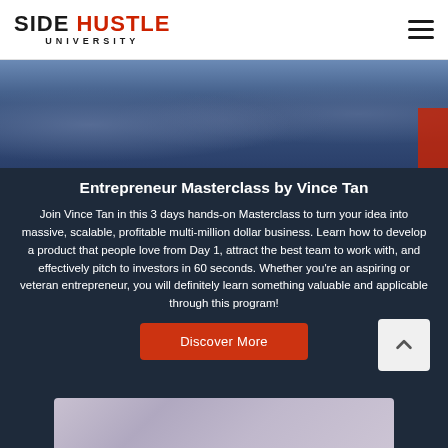SIDE HUSTLE UNIVERSITY
[Figure (photo): Photo of people at a masterclass event, audience members visible]
Entrepreneur Masterclass by Vince Tan
Join Vince Tan in this 3 days hands-on Masterclass to turn your idea into massive, scalable, profitable multi-million dollar business. Learn how to develop a product that people love from Day 1, attract the best team to work with, and effectively pitch to investors in 60 seconds. Whether you’re an aspiring or veteran entrepreneur, you will definitely learn something valuable and applicable through this program!
Discover More
[Figure (photo): Bottom partial image strip showing another course or event]